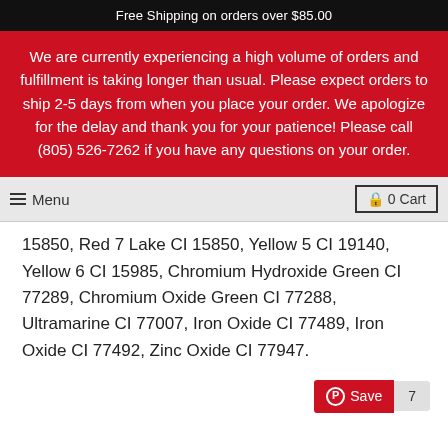Free Shipping on orders over $85.00
We are currently experiencing a high volume of orders and fulfillment is taking longer than usual. Please expect orders to ship 2-5 days from when you place your order. We apologize for the delay and thank you for your patience! Please call (805) 526-7262 if you have any questions on your order.
Menu  |  0 Cart
15850, Red 7 Lake CI 15850, Yellow 5 CI 19140, Yellow 6 CI 15985, Chromium Hydroxide Green CI 77289, Chromium Oxide Green CI 77288, Ultramarine CI 77007, Iron Oxide CI 77489, Iron Oxide CI 77492, Zinc Oxide CI 77947.
Save  7